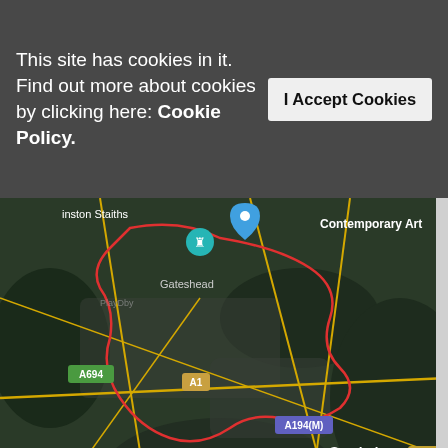This site has cookies in it. Find out more about cookies by clicking here: Cookie Policy.
I Accept Cookies
[Figure (map): Aerial/satellite map showing Gateshead and surrounding areas including Washington, Chester-le-Street, Stanley, Houghton le Spring, Sunderland. Road labels visible: A694, A1, A194(M), A19, A1(M), 91. A red boundary outline marks Gateshead area. Blue location pins visible. Text labels: Contemporary Art, Staiths, Washington.]
Copyright 2019 HBG Advisory LLP | All Rights Reserved | Privacy Policy | Our Licen... authorised by the Insolvency Practitioners' Association in t...
gateshead Local Online News Community Forums, Chats, For Sale, Classified, Offers, Vouchers, Events, Motors Sale... Property For Sale Rent, Jobs, Hotels, Taxi, Restaurants, Pubs, Clubs, Pictures, Sports, Charities, Lost Found...